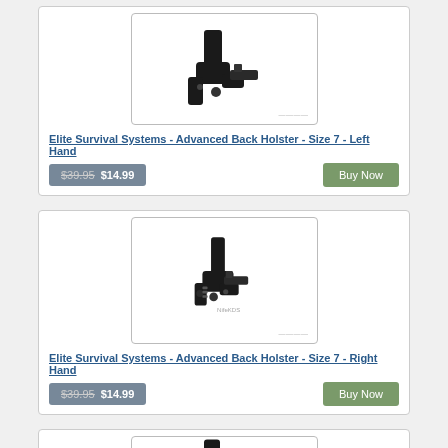[Figure (photo): Elite Survival Systems Advanced Back Holster Size 7 Left Hand product photo - black holster]
Elite Survival Systems - Advanced Back Holster - Size 7 - Left Hand
$39.95  $14.99  Buy Now
[Figure (photo): Elite Survival Systems Advanced Back Holster Size 7 Right Hand product photo - black holster with gun]
Elite Survival Systems - Advanced Back Holster - Size 7 - Right Hand
$39.95  $14.99  Buy Now
[Figure (photo): Elite Survival Systems Advanced Back Holster product photo - partial view]